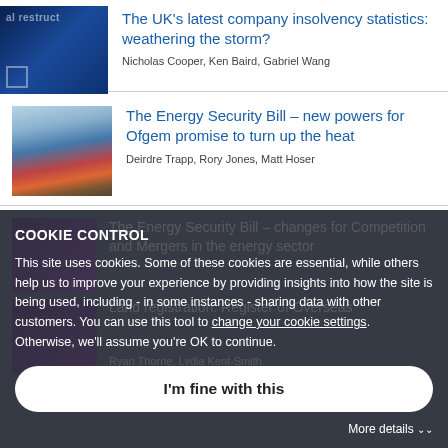The UK's latest company insolvency statistics: weathering the storm?
Nicholas Cooper, Ken Baird, Gabriel Wang
The Energy Security Bill – new powers for Ofgem promise to turn up the heat
Deirdre Trapp, Rory Jones, Matt Hoser
COOKIE CONTROL
This site uses cookies. Some of these cookies are essential, while others help us to improve your experience by providing insights into how the site is being used, including - in some instances - sharing data with other customers. You can use this tool to change your cookie settings. Otherwise, we'll assume you're OK to continue.
I'm fine with this
The Energy Security Bill – changes for Competition and Mergers in the energy sector
Land registration: Register of Overseas
Ryan Thorne, Lydia Kent-Smith
More details